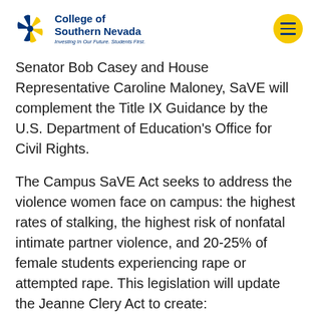[Figure (logo): College of Southern Nevada logo with blue and gold pinwheel graphic, text 'College of Southern Nevada' in blue, tagline 'Investing In Our Future. Students First.' in italic blue]
[Figure (other): Yellow circular hamburger menu button with three dark blue horizontal lines]
Senator Bob Casey and House Representative Caroline Maloney, SaVE will complement the Title IX Guidance by the U.S. Department of Education's Office for Civil Rights.
The Campus SaVE Act seeks to address the violence women face on campus: the highest rates of stalking, the highest risk of nonfatal intimate partner violence, and 20-25% of female students experiencing rape or attempted rape. This legislation will update the Jeanne Clery Act to create: